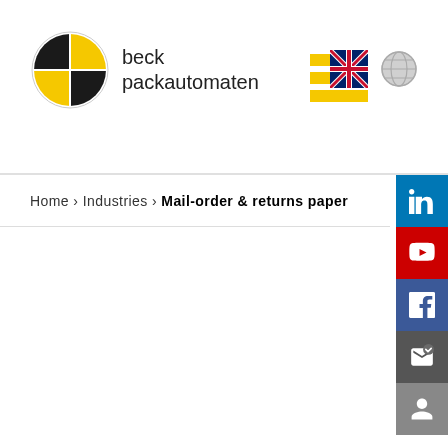[Figure (logo): Beck Packautomaten logo with circular quadrant emblem in black and yellow, company name 'beck packautomaten', yellow hamburger menu icon, UK flag icon, globe icon]
Home › Industries › Mail-order & returns paper